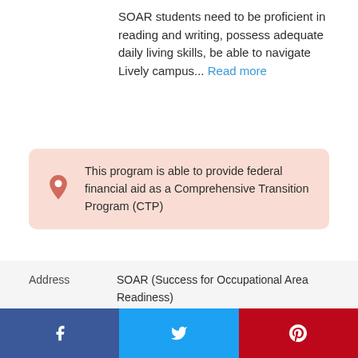SOAR students need to be proficient in reading and writing, possess adequate daily living skills, be able to navigate Lively campus... Read more
This program is able to provide federal financial aid as a Comprehensive Transition Program (CTP)
| Field | Value |
| --- | --- |
| Address | SOAR (Success for Occupational Area Readiness)
635 Brooke Hampton Dr
Tallahassee, FL 32311 |
| Phone | 8504877456 |